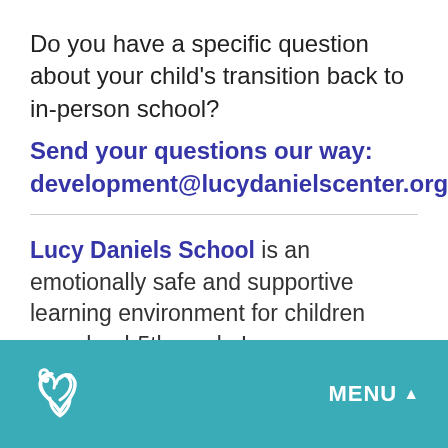Do you have a specific question about your child's transition back to in-person school?
Send your questions our way: development@lucydanielscenter.org
Lucy Daniels School is an emotionally safe and supportive learning environment for children preschool-5th grade.Lucy
[Figure (logo): Lucy Daniels School logo — white stylized heart/hands icon on teal background]
MENU